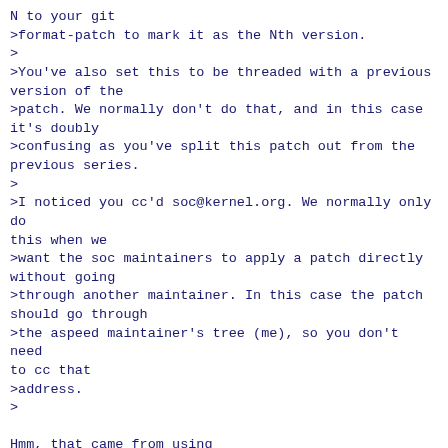N to your git
>format-patch to mark it as the Nth version.
>
>You've also set this to be threaded with a previous version of the
>patch. We normally don't do that, and in this case it's doubly
>confusing as you've split this patch out from the previous series.
>
>I noticed you cc'd soc@kernel.org. We normally only do this when we
>want the soc maintainers to apply a patch directly without going
>through another maintainer. In this case the patch should go through
>the aspeed maintainer's tree (me), so you don't need to cc that
>address.
>
Hmm, that came from using './scripts/get_maintainer.pl --no-rolestats'
with git send-email's --cc-cmd flag; does there happen to be a similarly
easy alternative that wouldn't do the "wrong" thing there?
Ack on the rest, will send v3 soon.